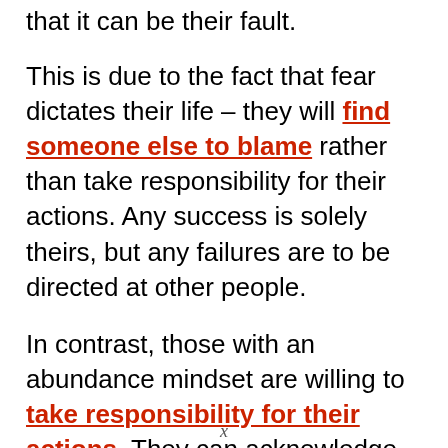that it can be their fault.
This is due to the fact that fear dictates their life – they will find someone else to blame rather than take responsibility for their actions. Any success is solely theirs, but any failures are to be directed at other people.
In contrast, those with an abundance mindset are willing to take responsibility for their actions. They can acknowledge areas of themselves that need improvement in a positive way, rather than being overly-critical.
They learn that there are consequences to their
x